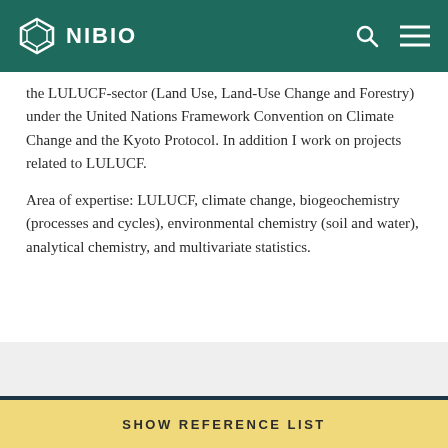NIBIO
the LULUCF-sector (Land Use, Land-Use Change and Forestry) under the United Nations Framework Convention on Climate Change and the Kyoto Protocol. In addition I work on projects related to LULUCF.
Area of expertise: LULUCF, climate change, biogeochemistry (processes and cycles), environmental chemistry (soil and water), analytical chemistry, and multivariate statistics.
My NIBIO publications
TYPE  YEAR
SHOW REFERENCE LIST